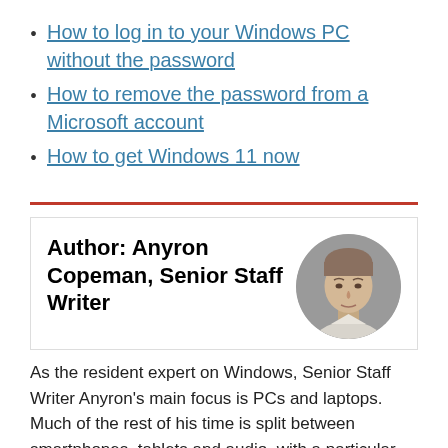How to log in to your Windows PC without the password
How to remove the password from a Microsoft account
How to get Windows 11 now
Author: Anyron Copeman, Senior Staff Writer
[Figure (photo): Circular headshot of Anyron Copeman, a young man with short hair, wearing a light-colored shirt, against a grey background.]
As the resident expert on Windows, Senior Staff Writer Anyron’s main focus is PCs and laptops. Much of the rest of his time is split between smartphones, tablets and audio, with a particular focus on Android devices.